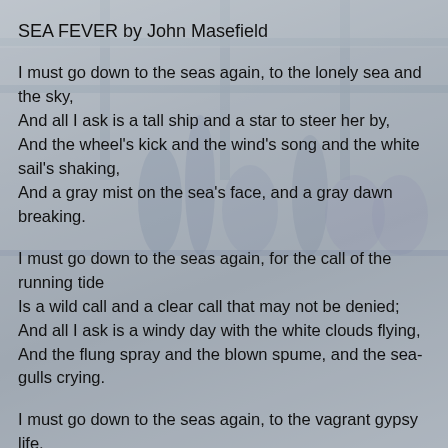SEA FEVER by John Masefield
I must go down to the seas again, to the lonely sea and the sky,
And all I ask is a tall ship and a star to steer her by,
And the wheel's kick and the wind's song and the white sail's shaking,
And a gray mist on the sea's face, and a gray dawn breaking.
I must go down to the seas again, for the call of the running tide
Is a wild call and a clear call that may not be denied;
And all I ask is a windy day with the white clouds flying,
And the flung spray and the blown spume, and the sea-gulls crying.
I must go down to the seas again, to the vagrant gypsy life,
To the gull's way and the whale's way, where the wind's like a whetted knife;